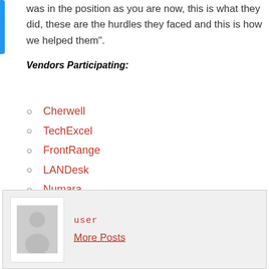was in the position as you are now, this is what they did, these are the hurdles they faced and this is how we helped them”.
Vendors Participating:
Cherwell
TechExcel
FrontRange
LANDesk
Numara
Marval
[Figure (illustration): User profile box with a generic avatar (gray person silhouette on white background), showing 'user' in red monospace text and 'More Posts' as a red dotted-underline link.]